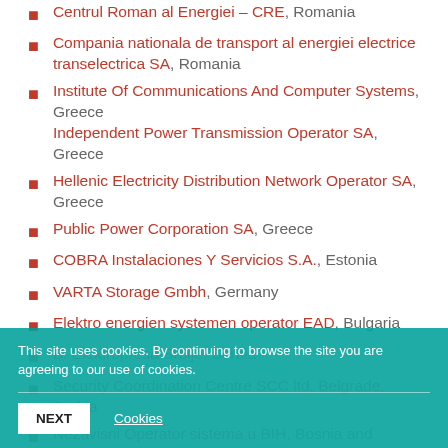Centrul Roman al Energiei – CRE, Romania
Compania nationala de transport al energiei electrice transelectrica SA, Romania
Institute Of Communications And Computer Systems, Greece
Independent Power Transmission Operator SA, Greece
Hellenic Electricity Distribution Network Operator SA, Greece
Public Power Corporation SA, Greece
COBRA Instalaciones Y Servicios S.A., Estonia
VARTA Storage Gmbh, Germany
Elektro energien systemen operator EAD, Bulgaria
B. Elektropresa Srbije, Serbia
Security Coordination Centre SCC ltd, Belgrade, Serbia
Nezavisni Operator sistema u BIH, Bosnia and Herzegovina
University of Manchester, UK
This site uses cookies. By continuing to browse the site you are agreeing to our use of cookies.